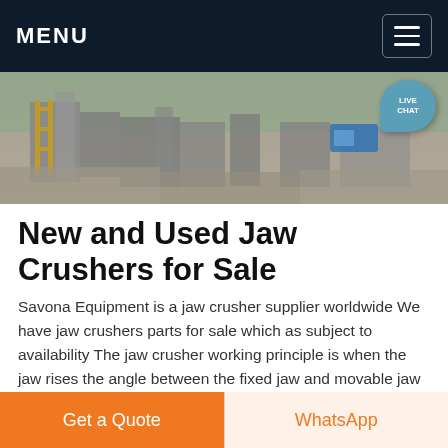MENU
[Figure (photo): Aerial/ground-level view of a construction/mining site with heavy machinery, concrete structures, scaffolding, and a blue vehicle in the background. A 'LIVE CHAT' badge is overlaid in the top-right corner.]
New and Used Jaw Crushers for Sale
Savona Equipment is a jaw crusher supplier worldwide We have jaw crushers parts for sale which as subject to availability The jaw crusher working principle is when the jaw rises the angle between the fixed jaw and movable jaw gets larger and the materials can be crushed All stone jaw crushers are used to crush hard rock and block
Get a Quote
WhatsApp